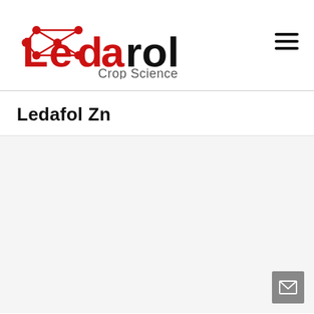[Figure (logo): Ledarol Crop Science logo with red molecular network graphic and text]
Ledafol Zn
[Figure (other): Light grey content area with mail/envelope button in bottom right corner]